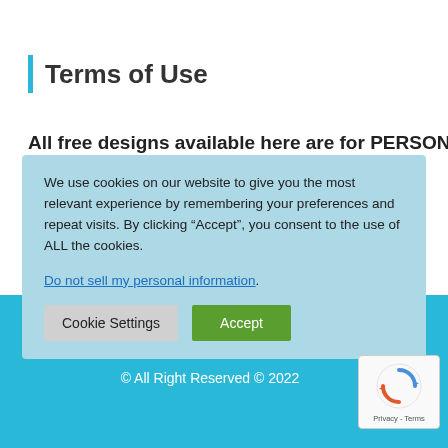Terms of Use
All free designs available here are for PERSONAL USE ONLY
We use cookies on our website to give you the most relevant experience by remembering your preferences and repeat visits. By clicking “Accept”, you consent to the use of ALL the cookies.
Do not sell my personal information.
© All Right Reserved © 2022
[Figure (logo): reCAPTCHA badge with Privacy and Terms text]